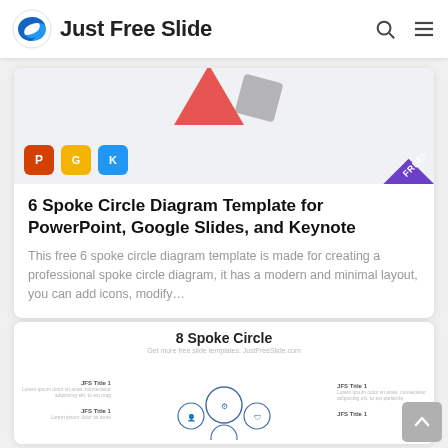Just Free Slide
[Figure (screenshot): Partial slide preview showing a 6 Spoke Circle diagram with red and grey shapes, three app icons (PowerPoint, Google Slides, Keynote), and a purple FREE badge corner]
6 Spoke Circle Diagram Template for PowerPoint, Google Slides, and Keynote
This free 6 spoke circle diagram template is made for creating a professional spoke circle diagram, it has a modern and minimal layout, you can add icons, modify…
[Figure (screenshot): 8 Spoke Circle diagram template preview showing circular spoke icons with JFS Title labels on left and right sides]